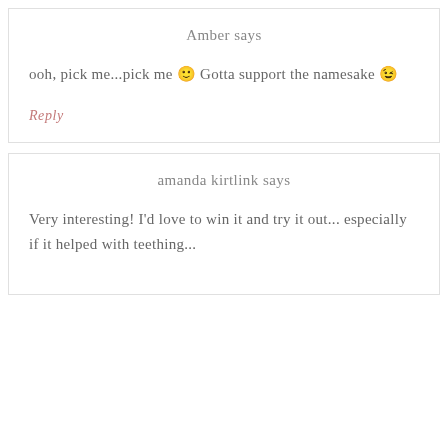Amber says
ooh, pick me...pick me 🙂 Gotta support the namesake 😉
Reply
amanda kirtlink says
Very interesting! I'd love to win it and try it out... especially if it helped with teething...